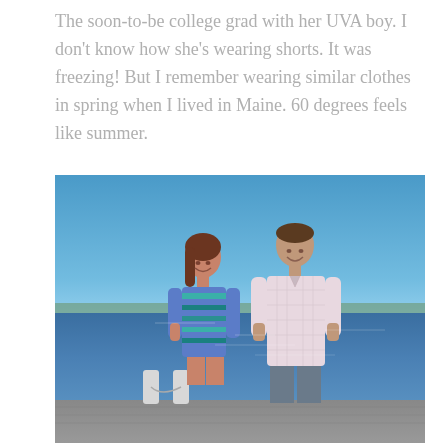The soon-to-be college grad with her UVA boy. I don't know how she's wearing shorts. It was freezing! But I remember wearing similar clothes in spring when I lived in Maine. 60 degrees feels like summer.
[Figure (photo): A young couple standing on a dock by the water on a clear sunny day. The woman on the left has brown hair and is wearing a blue and teal striped shirt. The man on the right is taller and wearing a light pink button-up shirt. Behind them is blue water and a clear blue sky, with distant land visible on the horizon.]